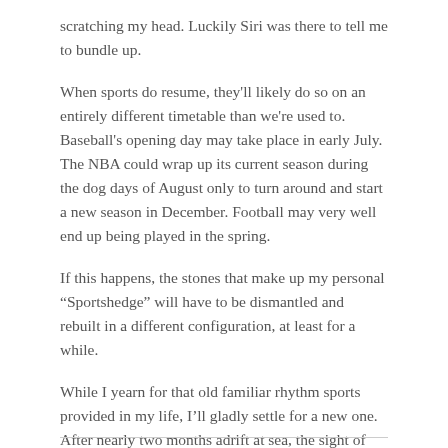scratching my head. Luckily Siri was there to tell me to bundle up.
When sports do resume, they'll likely do so on an entirely different timetable than we're used to. Baseball's opening day may take place in early July. The NBA could wrap up its current season during the dog days of August only to turn around and start a new season in December. Football may very well end up being played in the spring.
If this happens, the stones that make up my personal “Sportshedge” will have to be dismantled and rebuilt in a different configuration, at least for a while.
While I yearn for that old familiar rhythm sports provided in my life, I’ll gladly settle for a new one. After nearly two months adrift at sea, the sight of stadium lights shimmering from a distant shore will be a welcomed one indeed.